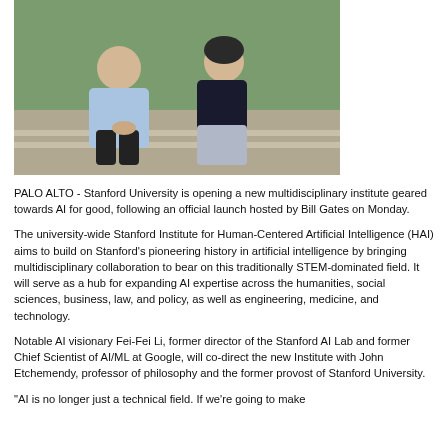[Figure (photo): Two people, a man in a light blue shirt and a woman in dark clothing, sitting outdoors on steps with green grass in the background.]
PALO ALTO - Stanford University is opening a new multidisciplinary institute geared towards AI for good, following an official launch hosted by Bill Gates on Monday.
The university-wide Stanford Institute for Human-Centered Artificial Intelligence (HAI) aims to build on Stanford's pioneering history in artificial intelligence by bringing multidisciplinary collaboration to bear on this traditionally STEM-dominated field. It will serve as a hub for expanding AI expertise across the humanities, social sciences, business, law, and policy, as well as engineering, medicine, and technology.
Notable AI visionary Fei-Fei Li, former director of the Stanford AI Lab and former Chief Scientist of AI/ML at Google, will co-direct the new Institute with John Etchemendy, professor of philosophy and the former provost of Stanford University.
"AI is no longer just a technical field. If we're going to make